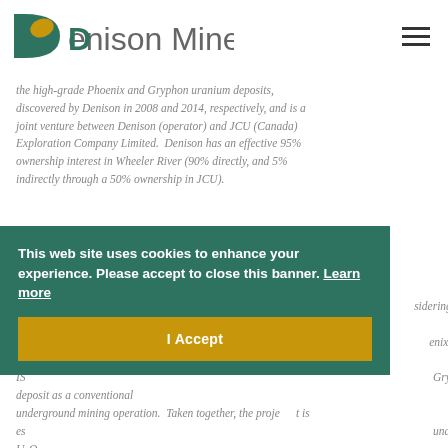Denison Mines
the high-grade Phoenix and Gryphon uranium deposits, discovered by Denison in 2008 and 2014, respectively, and is a joint venture between Denison (operator) and JCU (Canada) Exploration Company Limited. Denison has an effective 95% ownership interest in Wheeler River (90% directly, and 5% indirectly through a 50% ownership in JCU).
A [partially obscured] sidering the p[artially obscured] enix deposit as an IS[partially obscured] Gryphon deposit as a conventional underground mining operation. Taken together, the project is es[timated] unds U3O8 ov[er] [x] year mine life, with an after-tax present value of $1.31 billion (8% discount rate), Internal Rate of Return ('IRR') of 38.7%, and initial pre-production capital expenditures of $322.5 million.
This web site uses cookies to enhance your experience. Please accept to close this banner. Learn more
I Accept